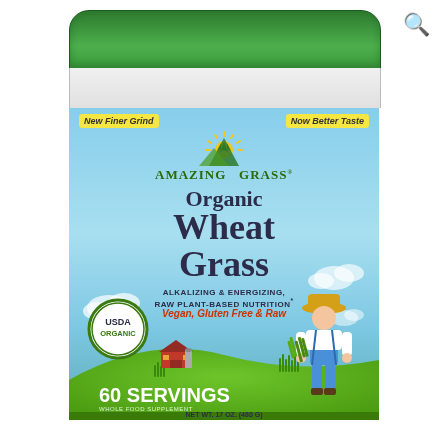[Figure (photo): Amazing Grass Organic Wheat Grass powder supplement container, 17 oz (480g), 60 servings. Green lid, blue label with USDA Organic seal, farmer illustration, red barn. Badges: New Finer Grind, Now Better Taste. Tagline: Alkalizing & Energizing, Raw Plant-Based Nutrition. Vegan, Gluten Free & Raw.]